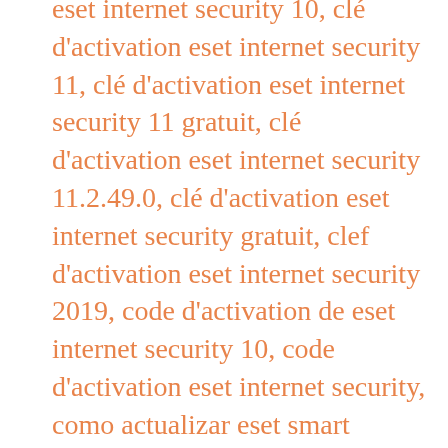eset internet security 10, clé d'activation eset internet security 11, clé d'activation eset internet security 11 gratuit, clé d'activation eset internet security 11.2.49.0, clé d'activation eset internet security gratuit, clef d'activation eset internet security 2019, code d'activation de eset internet security 10, code d'activation eset internet security, como actualizar eset smart security 5 sin internet, como ativar o eset internet security, como desinstalar o eset internet security, descargar actualizacion eset smart security 4 sin internet, diferencia eset smart security y eset internet security, eset antivirus vs eset internet security, eset internet security (eis), eset internet security 1, eset internet security 1 device 3 year, eset internet security 1 rok, eset internet security 1 user, eset internet security 1 year, eset internet security 10 0, eset internet security 10 64 bit, eset internet